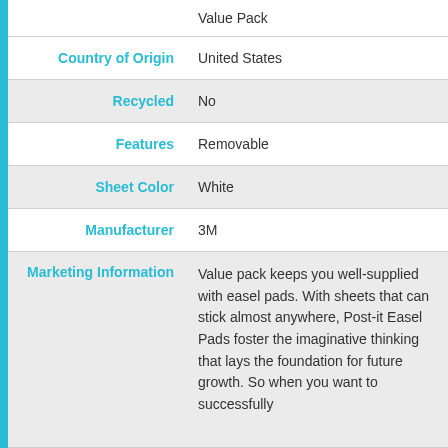| Attribute | Value |
| --- | --- |
|  | Value Pack |
| Country of Origin | United States |
| Recycled | No |
| Features | Removable |
| Sheet Color | White |
| Manufacturer | 3M |
| Marketing Information | Value pack keeps you well-supplied with easel pads. With sheets that can stick almost anywhere, Post-it Easel Pads foster the imaginative thinking that lays the foundation for future growth. So when you want to successfully |